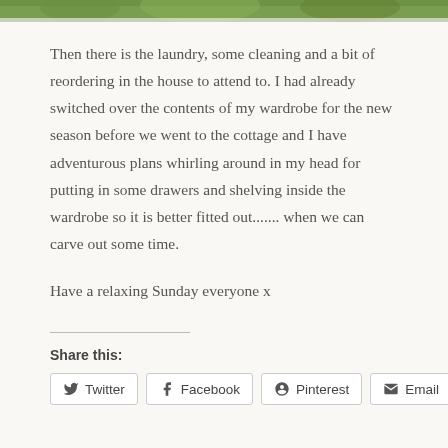[Figure (photo): Top strip of a photo showing green foliage/trees outdoors]
Then there is the laundry, some cleaning and a bit of reordering in the house to attend to. I had already switched over the contents of my wardrobe for the new season before we went to the cottage and I have adventurous plans whirling around in my head for putting in some drawers and shelving inside the wardrobe so it is better fitted out....... when we can carve out some time.
Have a relaxing Sunday everyone x
Share this:
Twitter  Facebook  Pinterest  Email